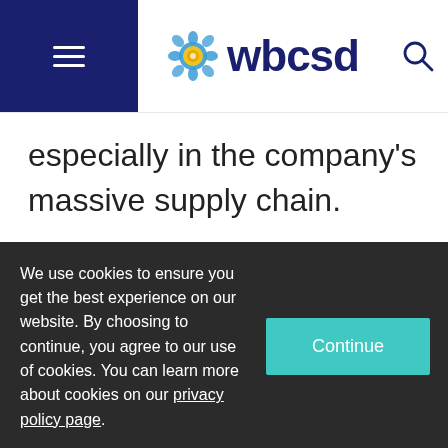wbcsd
especially in the company's massive supply chain.
Environmentalism, then, is very much a modern byproduct of sound business, in Scott's view. The architect of the company's well-publicized attempt to foist
We use cookies to ensure you get the best experience on our website. By choosing to continue, you agree to our use of cookies. You can learn more about cookies on our privacy policy page.